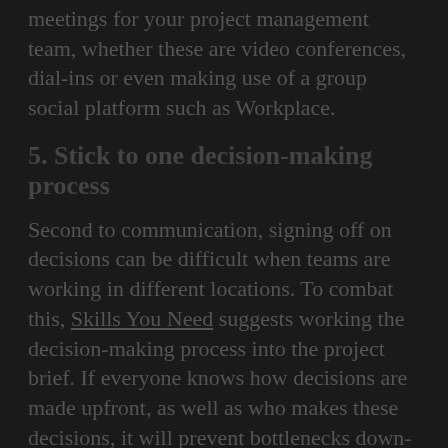meetings for your project management team, whether these are video conferences, dial-ins or even making use of a group social platform such as Workplace.
5. Stick to one decision-making process
Second to communication, signing off on decisions can be difficult when teams are working in different locations. To combat this, Skills You Need suggests working the decision-making process into the project brief. If everyone knows how decisions are made upfront, as well as who makes these decisions, it will prevent bottlenecks down-the-line.
6. Manage collaboration and productivity
Even if remote teams are excellent at